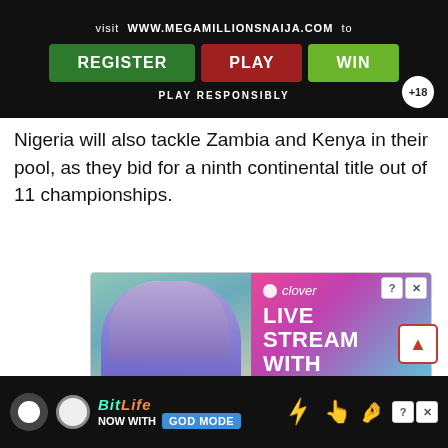[Figure (screenshot): Advertisement banner for MegaMillionsNaija.com with dark background showing 'visit WWW.MEGAMILLIONSNAIJA.COM to' text and three buttons: REGISTER (green), PLAY (red), WIN (green), with 'PLAY RESPONSIBLY' text and +18 badge]
Nigeria will also tackle Zambia and Kenya in their pool, as they bid for a ninth continental title out of 11 championships.
[Figure (screenshot): Clover app advertisement showing a blonde woman in blue outfit with heart emojis, and text 'clover LIVE STREAM WITH SINGLES' on a pink-to-teal gradient background with close/info buttons]
[Figure (screenshot): BitLife mobile game advertisement on black background with game logo, 'NOW WITH GOD MODE' text, lightning bolt, and hand icons, with close/info buttons]